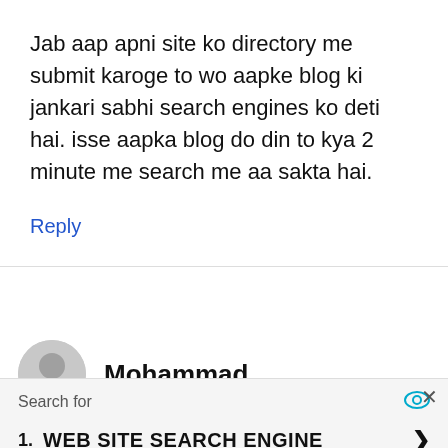Jab aap apni site ko directory me submit karoge to wo aapke blog ki jankari sabhi search engines ko deti hai. isse aapka blog do din to kya 2 minute me search me aa sakta hai.
Reply
Mohammad
November 27, 2010 at 6:40 pm
Search for
1.  WEB SITE SEARCH ENGINE
Yahoo! Search | Sponsored